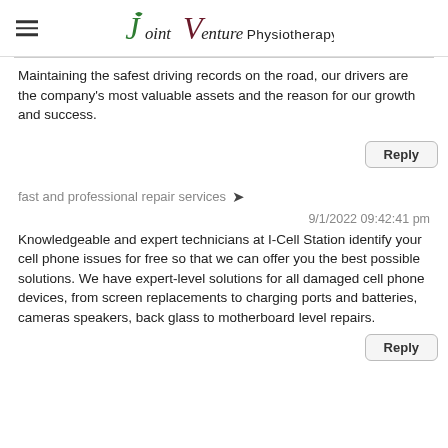Joint Venture Physiotherapy
Maintaining the safest driving records on the road, our drivers are the company's most valuable assets and the reason for our growth and success.
Reply
fast and professional repair services
9/1/2022 09:42:41 pm
Knowledgeable and expert technicians at I-Cell Station identify your cell phone issues for free so that we can offer you the best possible solutions. We have expert-level solutions for all damaged cell phone devices, from screen replacements to charging ports and batteries, cameras speakers, back glass to motherboard level repairs.
Reply